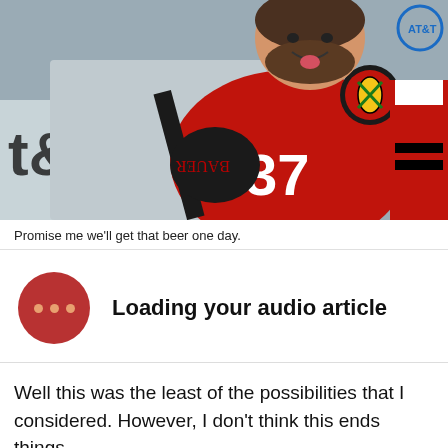[Figure (photo): Hockey player wearing Chicago Blackhawks red jersey number 37, smiling with tongue out, holding a hockey stick. AT&T signage visible in background. Another player partially visible on right.]
Promise me we'll get that beer one day.
Loading your audio article
Well this was the least of the possibilities that I considered. However, I don't think this ends things.